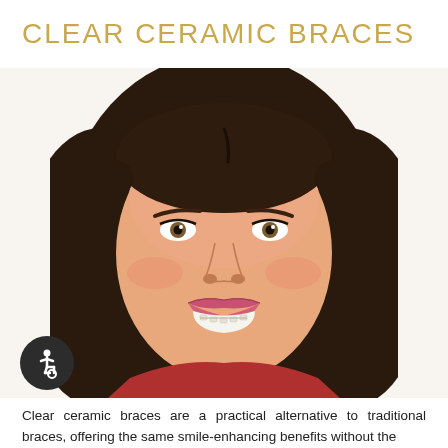CLEAR CERAMIC BRACES
[Figure (photo): Close-up portrait of a smiling brunette woman with clear ceramic braces on her teeth, wearing a red top, white background.]
Clear ceramic braces are a practical alternative to traditional braces, offering the same smile-enhancing benefits without the